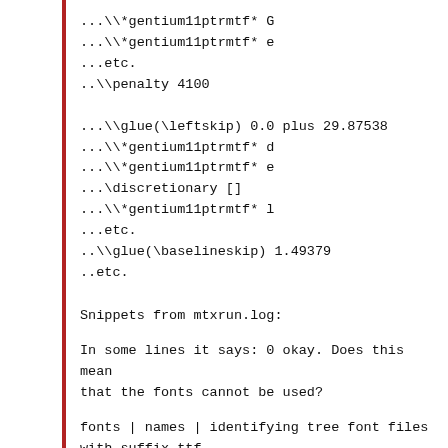...\*gentium11ptrmtf* G
...\*gentium11ptrmtf* e
...etc.
..\penalty 4100

...\glue(\leftskip) 0.0 plus 29.87538
...\*gentium11ptrmtf* d
...\*gentium11ptrmtf* e
...\discretionary []
...\*gentium11ptrmtf* l
...etc.
..\glue(\baselineskip) 1.49379
..etc.
Snippets from mtxrun.log:
In some lines it says: 0 okay. Does this mean that the fonts cannot be used?
fonts   | names | identifying tree font files with suffix ttf
fonts   | names | scanning